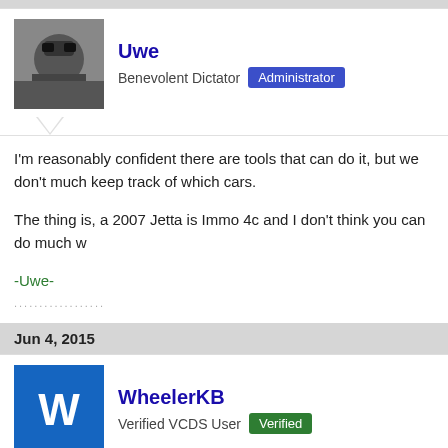[Figure (photo): Avatar photo of user Uwe, black and white photo of a person with sunglasses]
Uwe
Benevolent Dictator  Administrator
I'm reasonably confident there are tools that can do it, but we don't much keep track of which cars.

The thing is, a 2007 Jetta is Immo 4c and I don't think you can do much w
-Uwe-
Jun 4, 2015
[Figure (illustration): Avatar letter W on blue background for user WheelerKB]
WheelerKB
Verified VCDS User  Verified
Uwe said: ↑
I'm reasonably confident there are tools that can do it, but we don't much keep track of which cars.

The thing is, a 2007 Jetta is Immo 4c and I don't think you can do much with i